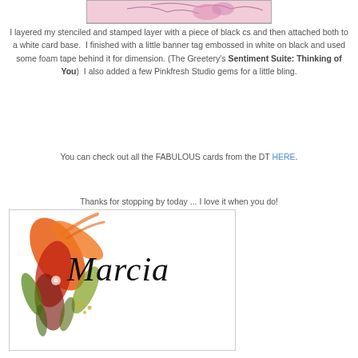[Figure (illustration): Top portion of a cropped card image with pink/purple floral illustration, partially visible]
I layered my stenciled and stamped layer with a piece of black cs and then attached both to a white card base.  I finished with a little banner tag embossed in white on black and used some foam tape behind it for dimension. (The Greetery's Sentiment Suite: Thinking of You)  I also added a few Pinkfresh Studio gems for a little bling.
You can check out all the FABULOUS cards from the DT HERE.
Thanks for stopping by today ... I love it when you do!
[Figure (illustration): Signature block with orange and red autumn floral/leaf watercolor illustration on the left and cursive script 'Marcia' on the right]